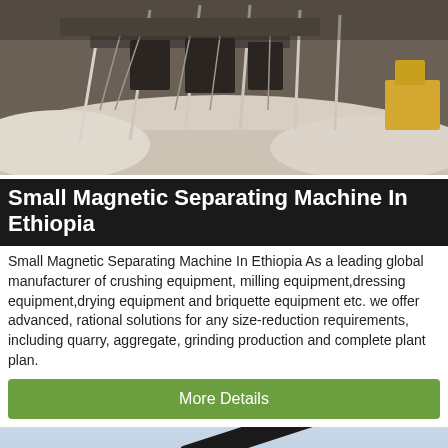[Figure (photo): Outdoor industrial mining or quarrying site with white structures, snowy or dusty ground, and equipment visible in background]
Small Magnetic Separating Machine In Ethiopia
Small Magnetic Separating Machine In Ethiopia As a leading global manufacturer of crushing equipment, milling equipment,dressing equipment,drying equipment and briquette equipment etc. we offer advanced, rational solutions for any size-reduction requirements, including quarry, aggregate, grinding production and complete plant plan.
More Details
[Figure (photo): Industrial crushing or conveying machine equipment on a light blue sky background]